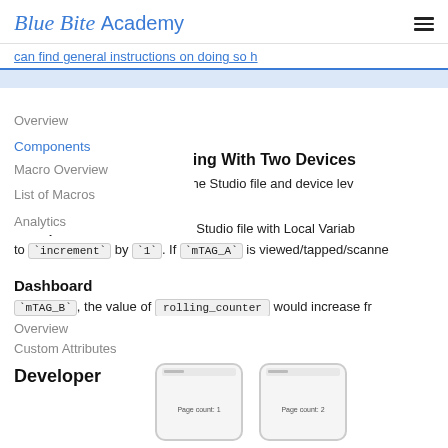Blue Bite Academy
can find general instructions on doing so h
Studio
Local Variables Interacting With Two Devices
Local Variables are scoped to the Studio file and device level and cannot be accessed by different mTAGs.
Example: Two mTAGs share a Studio file with Local Variables set to `increment` by `1`. If `mTAG_A` is viewed/tapped/scanned `mTAG_B`, the value of rolling_counter would increase fr
Dashboard
Developer
[Figure (screenshot): Two phone mockups showing Page count screens]